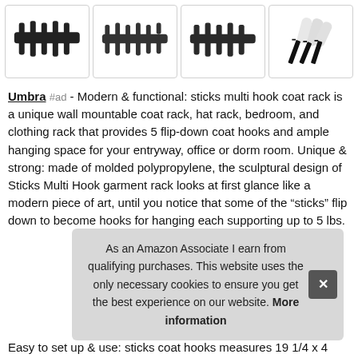[Figure (photo): Four product images in a row showing black multi-hook coat racks and screws/anchors hardware]
Umbra #ad - Modern & functional: sticks multi hook coat rack is a unique wall mountable coat rack, hat rack, bedroom, and clothing rack that provides 5 flip-down coat hooks and ample hanging space for your entryway, office or dorm room. Unique & strong: made of molded polypropylene, the sculptural design of Sticks Multi Hook garment rack looks at first glance like a modern piece of art, until you notice that some of the “sticks” flip down to become hooks for hanging each supporting up to 5 lbs.
As an Amazon Associate I earn from qualifying purchases. This website uses the only necessary cookies to ensure you get the best experience on our website. More information
Easy to set up & use: sticks coat hooks measures 19 1/4 x 4